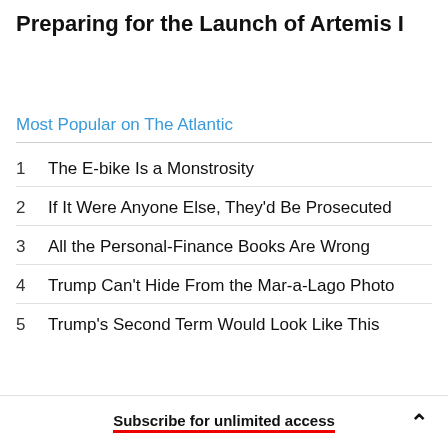Preparing for the Launch of Artemis I
Most Popular on The Atlantic
1  The E-bike Is a Monstrosity
2  If It Were Anyone Else, They'd Be Prosecuted
3  All the Personal-Finance Books Are Wrong
4  Trump Can't Hide From the Mar-a-Lago Photo
5  Trump's Second Term Would Look Like This
Subscribe for unlimited access